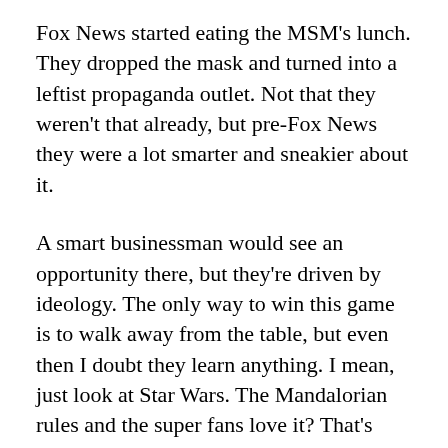Fox News started eating the MSM's lunch. They dropped the mask and turned into a leftist propaganda outlet. Not that they weren't that already, but pre-Fox News they were a lot smarter and sneakier about it.
A smart businessman would see an opportunity there, but they're driven by ideology. The only way to win this game is to walk away from the table, but even then I doubt they learn anything. I mean, just look at Star Wars. The Mandalorian rules and the super fans love it? That's great. Let's pass Favreau over and put Abrams's female understudy in charge because it looks bad to fire a woman, especially such a woke and progressive one like her. Idiots.